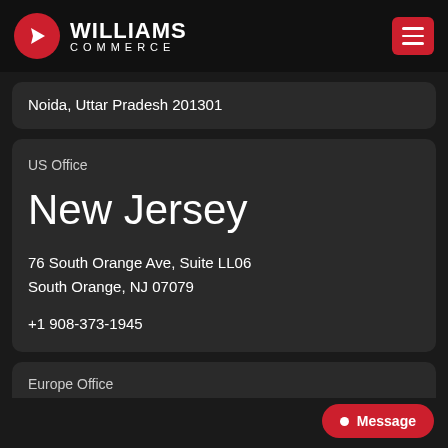[Figure (logo): Williams Commerce logo with red circle containing white arrow icon, white text WILLIAMS COMMERCE]
Noida, Uttar Pradesh 201301
US Office
New Jersey
76 South Orange Ave, Suite LL06
South Orange, NJ 07079
+1 908-373-1945
Europe Office